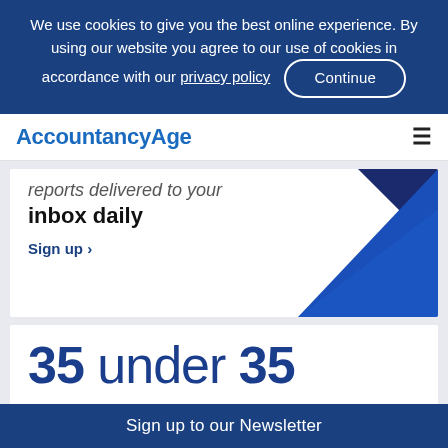We use cookies to give you the best online experience. By using our website you agree to our use of cookies in accordance with our privacy policy  Continue
AccountancyAge
reports delivered to your inbox daily
Sign up >
[Figure (illustration): Blue triangle geometric graphic in bottom-right of newsletter card]
35 under 35
Sign up to our Newsletter